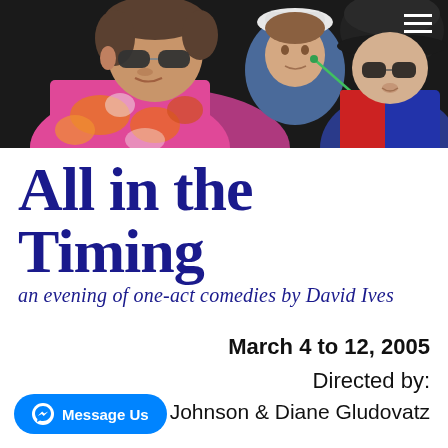[Figure (photo): Three actors in costume on a dark stage: a man in colorful Hawaiian shirt with sunglasses on the left, a woman in a blue outfit and white hat in the center background, and a person wearing a dark hat and glasses with a red and blue jacket on the right.]
All in the Timing
an evening of one-act comedies by David Ives
March 4 to 12, 2005
Directed by:
Penelope Johnson & Diane Gludovatz